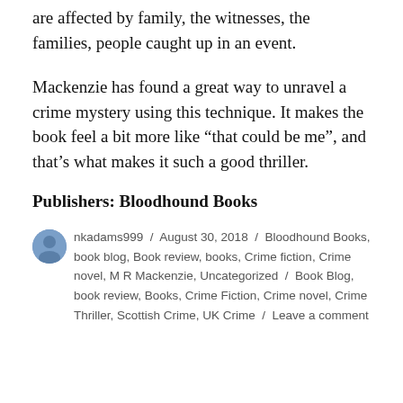are affected by family, the witnesses, the families, people caught up in an event.
Mackenzie has found a great way to unravel a crime mystery using this technique. It makes the book feel a bit more like “that could be me”, and that’s what makes it such a good thriller.
Publishers: Bloodhound Books
nkadams999 / August 30, 2018 / Bloodhound Books, book blog, Book review, books, Crime fiction, Crime novel, M R Mackenzie, Uncategorized / Book Blog, book review, Books, Crime Fiction, Crime novel, Crime Thriller, Scottish Crime, UK Crime / Leave a comment